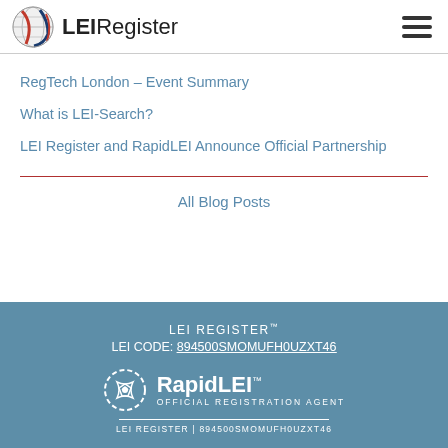LEIRegister
RegTech London – Event Summary
What is LEI-Search?
LEI Register and RapidLEI Announce Official Partnership
All Blog Posts
LEI REGISTER™
LEI CODE: 894500SMOMUFH0UZXT46
RapidLEI™ OFFICIAL REGISTRATION AGENT
LEI REGISTER | 894500SMOMUFH0UZXT46